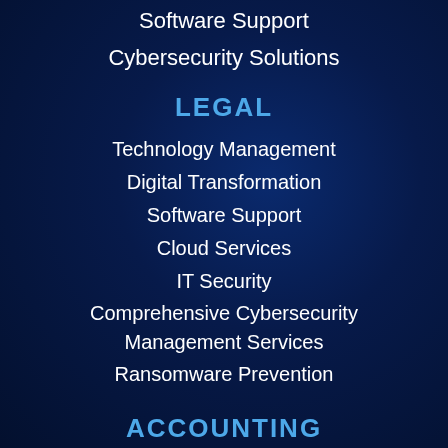Software Support
Cybersecurity Solutions
LEGAL
Technology Management
Digital Transformation
Software Support
Cloud Services
IT Security
Comprehensive Cybersecurity Management Services
Ransomware Prevention
ACCOUNTING
Managed IT Services
Cloud Services